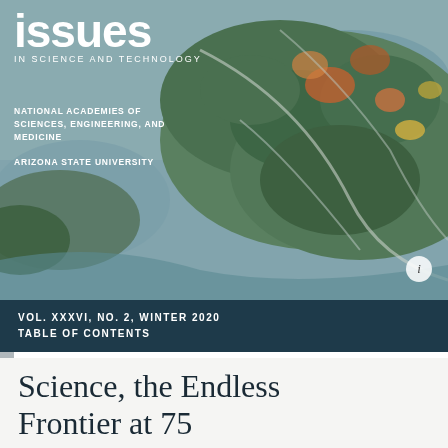[Figure (illustration): Magazine cover image showing an aerial/illustrated view of a landscape with trees, waterways, and mixed terrain in green, grey, and warm tones. Issues in Science and Technology magazine cover.]
ISSUES IN SCIENCE AND TECHNOLOGY
NATIONAL ACADEMIES OF SCIENCES, ENGINEERING, AND MEDICINE
ARIZONA STATE UNIVERSITY
VOL. XXXVI, NO. 2, WINTER 2020
TABLE OF CONTENTS
Science, the Endless Frontier at 75
An influential policy document called Science, the Endless Frontier has provided the blueprint for public